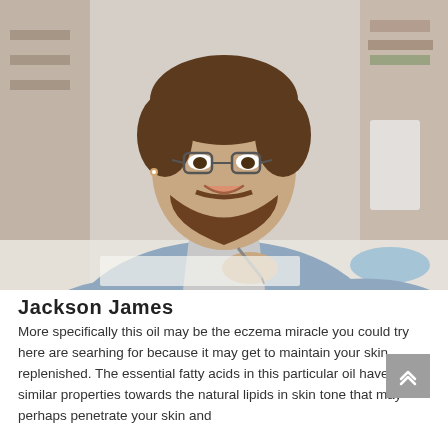[Figure (photo): A young bearded man with glasses, smiling, sitting at a desk holding a pen over a notebook, in a bright office/library background wearing a blue-grey shirt.]
Jackson James
More specifically this oil may be the eczema miracle you could try here are searhing for because it may get to maintain your skin replenished. The essential fatty acids in this particular oil have such similar properties towards the natural lipids in skin tone that may perhaps penetrate your skin and